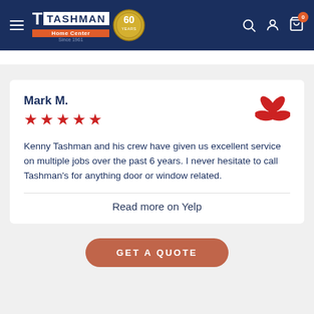Tashman Home Center — navigation header with logo, search, account, and cart icons
Mark M.
★★★★★
Kenny Tashman and his crew have given us excellent service on multiple jobs over the past 6 years. I never hesitate to call Tashman's for anything door or window related.
Read more on Yelp
GET A QUOTE